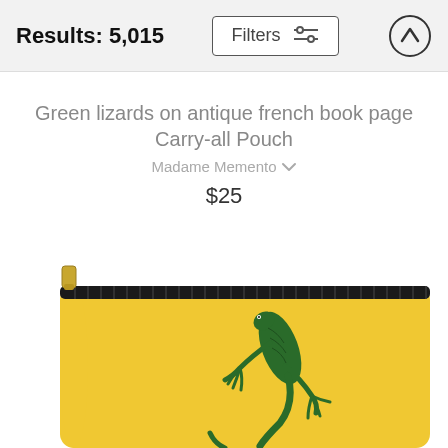Results: 5,015
Green lizards on antique french book page Carry-all Pouch
Madame Memento
$25
[Figure (photo): A yellow carry-all pouch with a black zipper and a green lizard illustration on the front, shown partially cropped at the bottom of the page.]